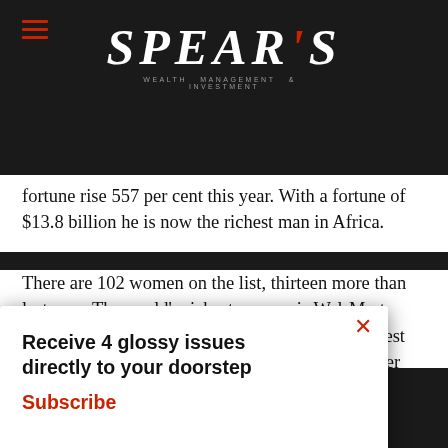SPEAR'S
fortune rise 557 per cent this year. With a fortune of $13.8 billion he is now the richest man in Africa.
There are 102 women on the list, thirteen more than last year. The world's richest woman is Wal-Mart heiress Christy Walton (tenth). Of the top 20 richest women, only one is self-made: Wu Yajun made her $5.5 billion through real estate company Longfor Properties.
el from popular ouths, facebook s.
continue using our all cookies on this
[Figure (screenshot): Popup subscription prompt: 'Receive 4 glossy issues directly to your doorstep' with 'Subscribe' link in red and a red X close button]
Continue   Learn more